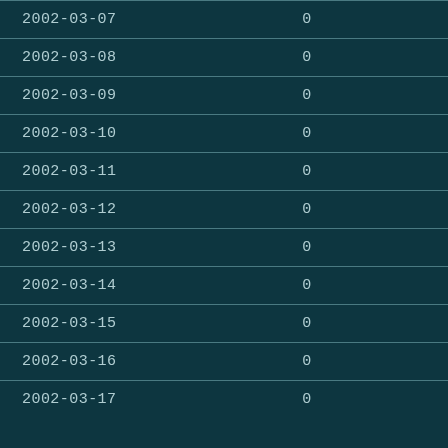| 2002-03-07 | 0 |
| 2002-03-08 | 0 |
| 2002-03-09 | 0 |
| 2002-03-10 | 0 |
| 2002-03-11 | 0 |
| 2002-03-12 | 0 |
| 2002-03-13 | 0 |
| 2002-03-14 | 0 |
| 2002-03-15 | 0 |
| 2002-03-16 | 0 |
| 2002-03-17 | 0 |